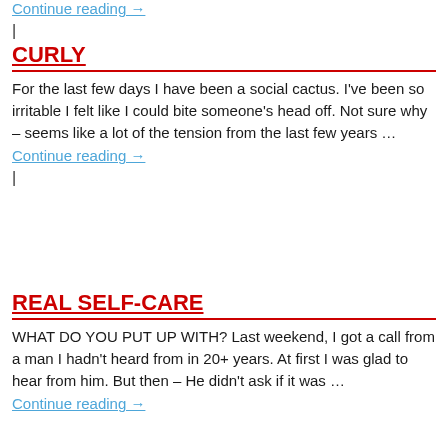Continue reading →
|
CURLY
For the last few days I have been a social cactus. I've been so irritable I felt like I could bite someone's head off. Not sure why – seems like a lot of the tension from the last few years …
Continue reading →
|
REAL SELF-CARE
WHAT DO YOU PUT UP WITH? Last weekend, I got a call from a man I hadn't heard from in 20+ years. At first I was glad to hear from him. But then – He didn't ask if it was …
Continue reading →